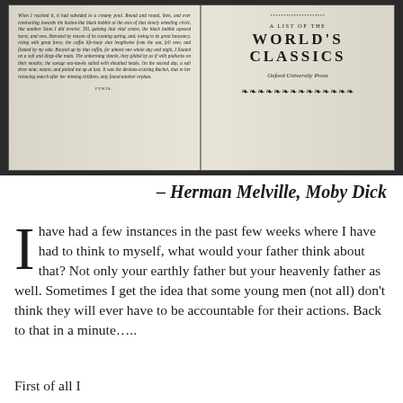[Figure (photo): Photograph of an open book showing two pages. Left page shows italic text ending with 'FINIS.' Right page shows a title page reading 'A LIST OF THE WORLD'S CLASSICS Oxford University Press' with decorative ornamental border at top and bottom.]
– Herman Melville, Moby Dick
I have had a few instances in the past few weeks where I have had to think to myself, what would your father think about that? Not only your earthly father but your heavenly father as well. Sometimes I get the idea that some young men (not all) don't think they will ever have to be accountable for their actions. Back to that in a minute…..
First of all I... [text cut off at bottom of page]